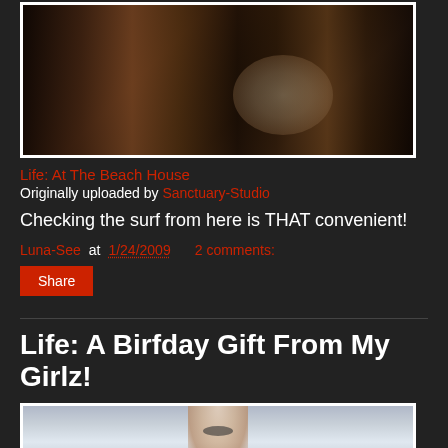[Figure (photo): Dark indoor photo showing what appears to be a cluttered room or beach house interior with wooden elements and fabric/bedding visible]
Life: At The Beach House
Originally uploaded by Sanctuary-Studio
Checking the surf from here is THAT convenient!
Luna-See at 1/24/2009   2 comments:
Share
Life: A Birfday Gift From My Girlz!
[Figure (photo): Partial view of a person wearing a light blue/grey shirt with a necklace, photo cropped at bottom of page]